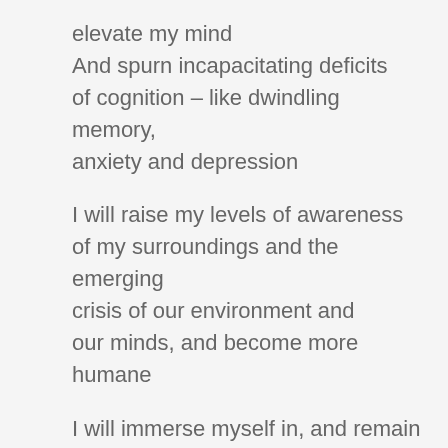elevate my mind
And spurn incapacitating deficits of cognition – like dwindling memory, anxiety and depression
I will raise my levels of awareness of my surroundings and the emerging crisis of our environment and our minds, and become more humane
I will immerse myself in, and remain in the present, and nurture my senses of sight, sound, smell and touch. And I will be receptive to reasoning, creativity, compassion and wisdom
Away from the WhatsApp Education Academy, I will challenge and